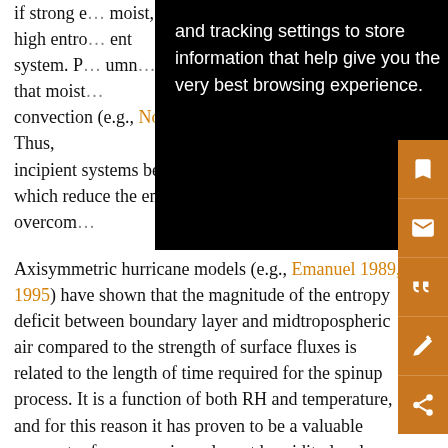if strong e… moist, high entro… ent system. P… umn… that moist… convection (e.g., Nolan 2011) can be maintained. Thus, incipient systems benefit from higher humidity levels, which reduce the entropy deficits that must be overcome.
Axisymmetric hurricane models (e.g., Emanuel 1989, 1995) have shown that the magnitude of the entropy deficit between boundary layer and midtropospheric air compared to the strength of surface fluxes is related to the length of time required for the spinup process. It is a function of both RH and temperature, and for this reason it has proven to be a valuable parameter for comparing relevant humidity levels between different climate states (Emanuel et al. 2008; Emanuel 2010; Rappin et al. 2010;